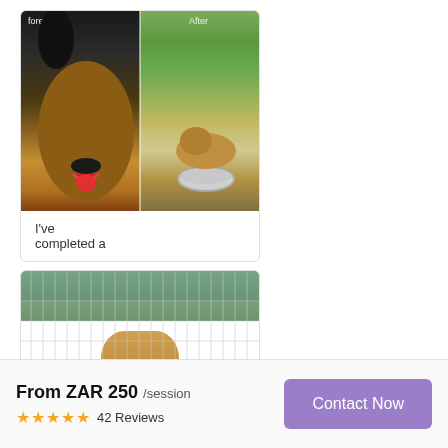[Figure (photo): Before and after comparison photos of a German Shepherd dog. Left half shows a dark-colored German Shepherd face close up (before). Right half shows the dog lying on grass with a metal bowl (after). Labels 'fore' and 'After' at top.]
I've completed a
♡ 1  ○ 0
[Figure (photo): A German Shepherd dog standing upright against a chain-link fence in an outdoor training area with red dirt ground. Another image partially visible.]
From ZAR 250 /session
★★★★★  42 Reviews
Contact Now